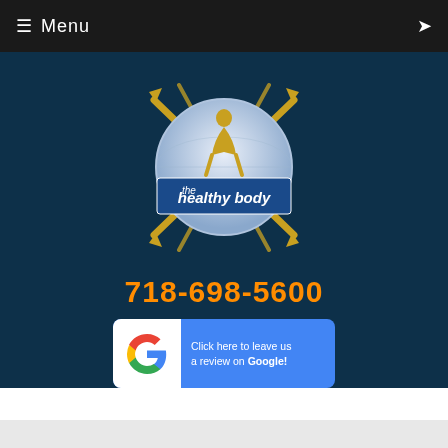≡ Menu
[Figure (logo): The Healthy Body logo — circular globe with gold lightning bolt / figure overlay, text 'the healthy body' on a blue banner in the center]
718-698-5600
[Figure (infographic): Google review button: white box with Google 'G' logo on the left, blue background on the right with text 'Click here to leave us a review on Google!']